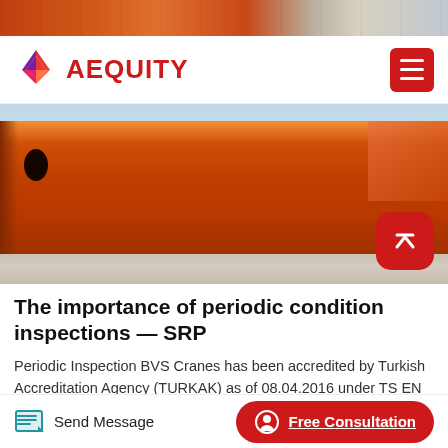[Figure (photo): Top image strip showing industrial/crane equipment in orange tones]
AEQUITY
[Figure (photo): Large photograph of an orange industrial crane beam/rail close-up at ground level]
The importance of periodic condition inspections — SRP
Periodic Inspection BVS Cranes has been accredited by Turkish Accreditation Agency (TURKAK) as of 08.04.2016 under TS EN ISO / IEC 17020 standard. Within the scope of this accreditation, the Inspection Department within BVS, in addition to providing Periodic
Send Message   Free Consultation